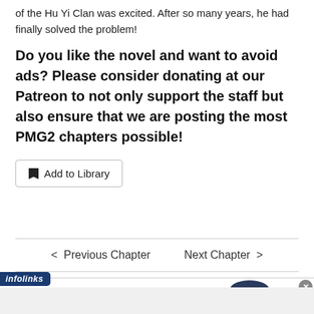of the Hu Yi Clan was excited. After so many years, he had finally solved the problem!
Do you like the novel and want to avoid ads? Please consider donating at our Patreon to not only support the staff but also ensure that we are posting the most PMG2 chapters possible!
Add to Library
< Previous Chapter   Next Chapter >
[Figure (screenshot): Bloomingdale's advertisement banner with woman in wide-brim hat, brand name, tagline 'View Today's Top Deals!' and 'SHOP NOW >' button]